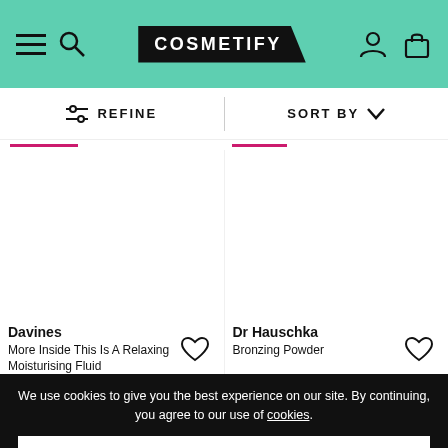COSMETIFY
REFINE | SORT BY
Davines
More Inside This Is A Relaxing Moisturising Fluid
Dr Hauschka
Bronzing Powder
We use cookies to give you the best experience on our site. By continuing, you agree to our use of cookies.
Accept